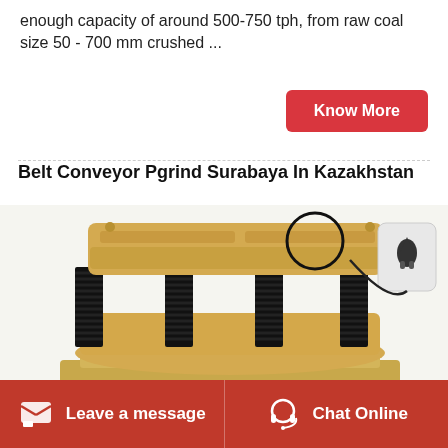enough capacity of around 500-750 tph, from raw coal size 50 - 700 mm crushed ...
Know More
Belt Conveyor Pgrind Surabaya In Kazakhstan
[Figure (photo): Industrial cone crusher machine with yellow metal casing and black spring coils, photographed on a stand]
Leave a message   Chat Online